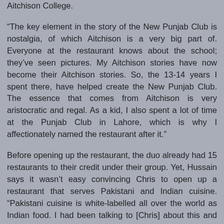Aitchison College.
“The key element in the story of the New Punjab Club is nostalgia, of which Aitchison is a very big part of. Everyone at the restaurant knows about the school; they’ve seen pictures. My Aitchison stories have now become their Aitchison stories. So, the 13-14 years I spent there, have helped create the New Punjab Club. The essence that comes from Aitchison is very aristocratic and regal. As a kid, I also spent a lot of time at the Punjab Club in Lahore, which is why I affectionately named the restaurant after it.”
Before opening up the restaurant, the duo already had 15 restaurants to their credit under their group. Yet, Hussain says it wasn’t easy convincing Chris to open up a restaurant that serves Pakistani and Indian cuisine. “Pakistani cuisine is white-labelled all over the world as Indian food. I had been talking to [Chris] about this and had a hard time convincing him. So, I took him to Lahore in 2016, and in a week I showed him around Aitchison, Punjab Club, Gowalmandi, Lakshmi Chowk and even